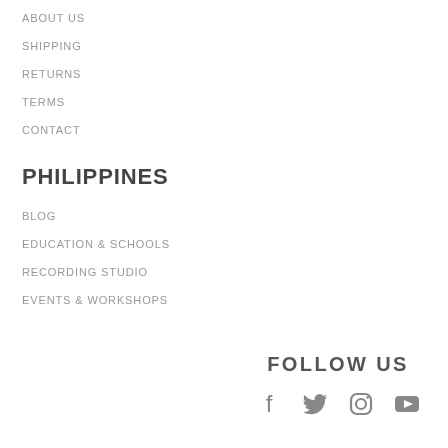ABOUT US
SHIPPING
RETURNS
TERMS
CONTACT
PHILIPPINES
BLOG
EDUCATION & SCHOOLS
RECORDING STUDIO
EVENTS & WORKSHOPS
FOLLOW US
[Figure (illustration): Social media icons: Facebook, Twitter, Instagram, YouTube]